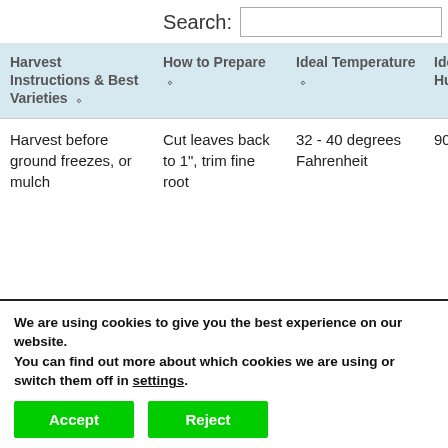Search:
| Harvest Instructions & Best Varieties | How to Prepare | Ideal Temperature | Ideal Humidity | St Le |
| --- | --- | --- | --- | --- |
| Harvest before ground freezes, or mulch | Cut leaves back to 1", trim fine root | 32 - 40 degrees Fahrenheit | 90 - 95% | 2 m |
We are using cookies to give you the best experience on our website.
You can find out more about which cookies we are using or switch them off in settings.